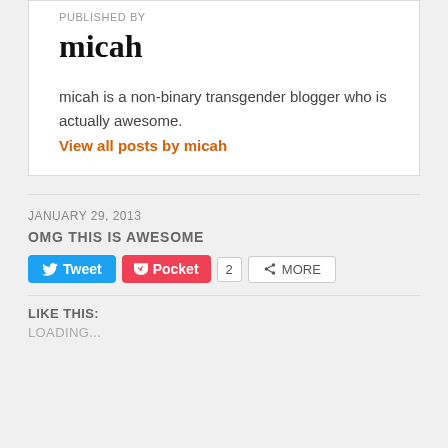PUBLISHED BY
micah
micah is a non-binary transgender blogger who is actually awesome.
View all posts by micah
JANUARY 29, 2013
OMG THIS IS AWESOME
[Figure (screenshot): Social share buttons: Tweet, Pocket (count: 2), More]
LIKE THIS:
LOADING...